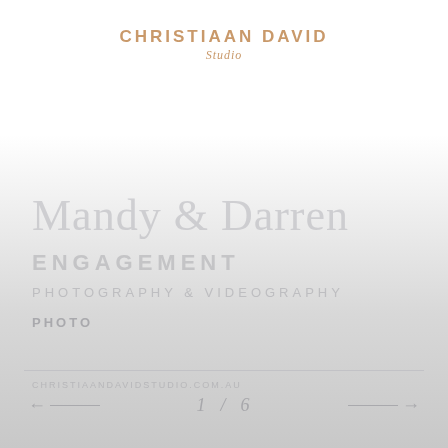[Figure (logo): Christiaan David Studio logo with uppercase serif brand name in gold/tan color and italic script 'Studio' subtitle]
Mandy & Darren
ENGAGEMENT
PHOTO
1 / 6